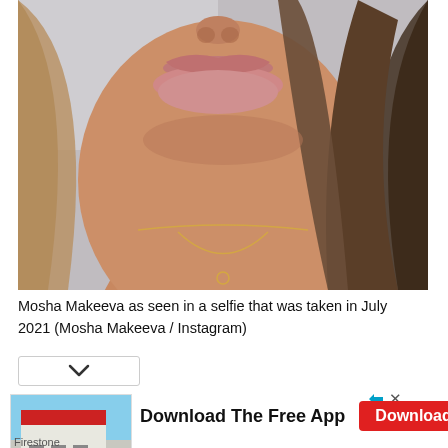[Figure (photo): Close-up selfie of a young woman (Mosha Makeeva) showing her face from nose to chest, with long brown/blonde hair, glossy lips, and a delicate gold chain necklace. Taken in July 2021.]
Mosha Makeeva as seen in a selfie that was taken in July 2021 (Mosha Makeeva / Instagram)
[Figure (photo): Advertisement image showing a Firestone auto care store exterior with a parking lot and blue sky.]
Download The Free App
Download
Firestone